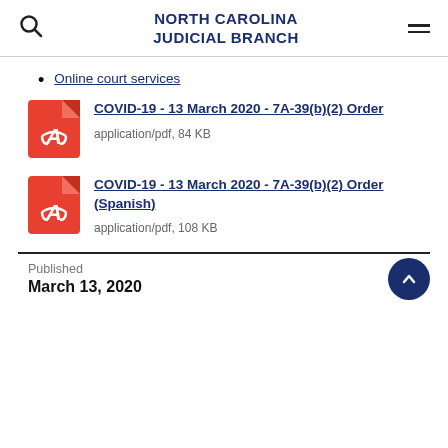NORTH CAROLINA JUDICIAL BRANCH
Online court services
[Figure (other): Red PDF file icon for COVID-19 order document]
COVID-19 - 13 March 2020 - 7A-39(b)(2) Order
application/pdf, 84 KB
[Figure (other): Red PDF file icon for COVID-19 order Spanish document]
COVID-19 - 13 March 2020 - 7A-39(b)(2) Order (Spanish)
application/pdf, 108 KB
Published
March 13, 2020